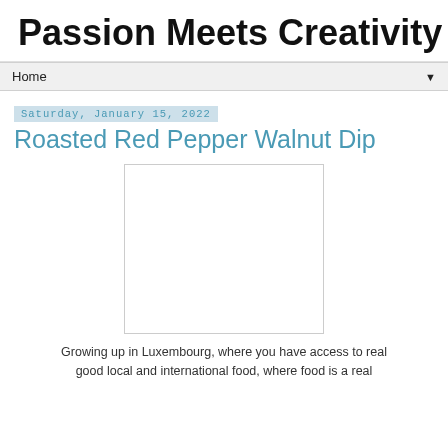Passion Meets Creativity
Home ▼
Saturday, January 15, 2022
Roasted Red Pepper Walnut Dip
[Figure (photo): Blank/placeholder image area with thin border]
Growing up in Luxembourg, where you have access to real good local and international food, where food is a real